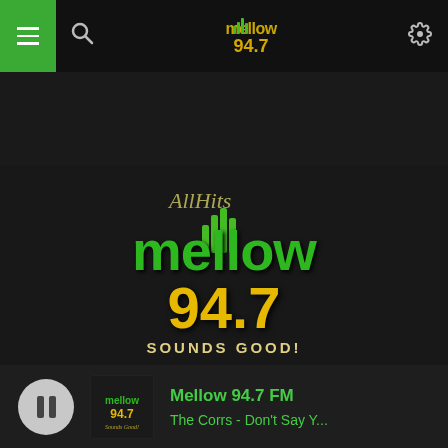Mellow 94.7 navigation bar with menu, search, logo, and settings
[Figure (logo): AllHits Mellow 94.7 Sounds Good! radio station logo — green and yellow text on dark background]
Mellow 94.7 FM
The Corrs - Don't Say Y...